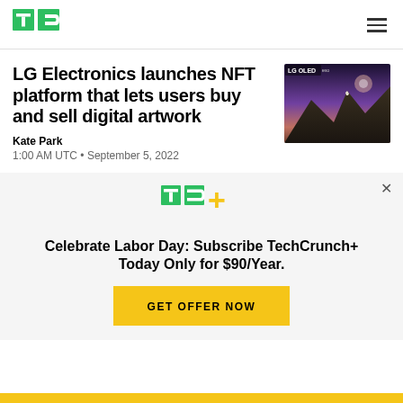TechCrunch
LG Electronics launches NFT platform that lets users buy and sell digital artwork
[Figure (photo): LG OLED TV displaying a mountain landscape at twilight]
Kate Park
1:00 AM UTC • September 5, 2022
[Figure (logo): TC+ logo in green with plus sign in yellow]
Celebrate Labor Day: Subscribe TechCrunch+ Today Only for $90/Year.
GET OFFER NOW